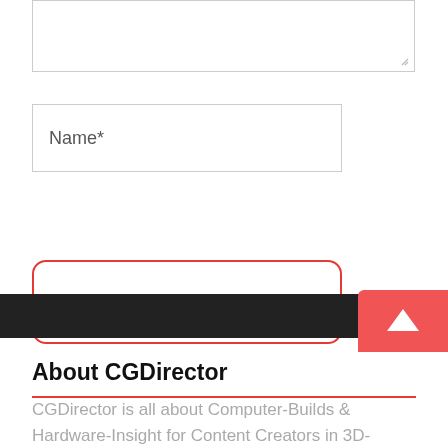[Figure (screenshot): Partial textarea input box (cropped at top)]
Name*
[Figure (screenshot): Post Comment button with red rounded border]
[Figure (screenshot): Red horizontal divider line]
[Figure (screenshot): Dark footer bar with red scroll-to-top arrow button on right]
About CGDirector
CGDirector is all about Computer-Builds & Hardware-Insight for Content Creators in 3D-